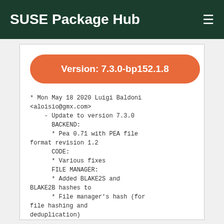SUSE Package Hub
Version: 7.3.0-bp152.1.8
* Mon May 18 2020 Luigi Baldoni <aloisio@gmx.com>
    - Update to version 7.3.0
      BACKEND:
      * Pea 0.71 with PEA file format revision 1.2
      CODE:
      * Various fixes
      FILE MANAGER:
      * Added BLAKE2S and BLAKE2B hashes to
      * File manager's hash (for file hashing and deduplication)
      * File tools set of hashes
      * Optional hash for raw file split
      * Optional hash for PEA format
      * Added support for opening as archive modern Linux package formats: .appimage, Ubuntu's .snap, and FreeDesktop Listaller .ipk
      * Browser now uses smarter